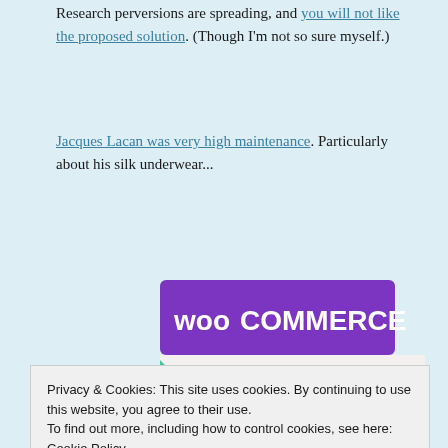Research perversions are spreading, and you will not like the proposed solution. (Though I'm not so sure myself.)
Jacques Lacan was very high maintenance. Particularly about his silk underwear...
[Figure (illustration): WooCommerce advertisement banner: purple header with WooCommerce logo, teal triangle shape on the left, blue quarter-circle on the right, text reading 'How to start selling subscriptions online']
Privacy & Cookies: This site uses cookies. By continuing to use this website, you agree to their use.
To find out more, including how to control cookies, see here: Cookie Policy
Do we "translate" science for the general public? I actually